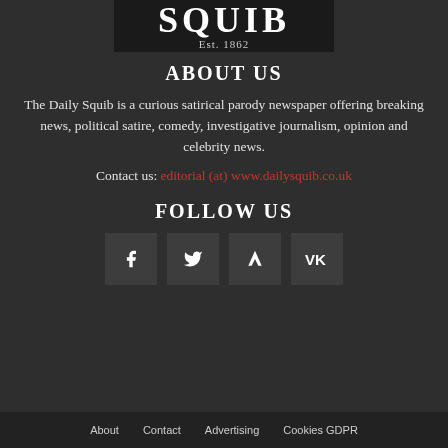[Figure (logo): Daily Squib logo with large stylized text SQUIB and Est. 1862 beneath]
ABOUT US
The Daily Squib is a curious satirical parody newspaper offering breaking news, political satire, comedy, investigative journalism, opinion and celebrity news.
Contact us: editorial (at) www.dailysquib.co.uk
FOLLOW US
[Figure (infographic): Four social media icon buttons: Facebook, Twitter, Vimeo, VK]
About   Contact   Advertising   Cookies GDPR